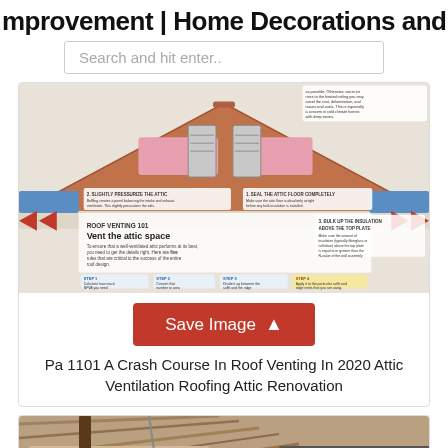mprovement | Home Decorations and
Search and hit enter..
[Figure (illustration): Illustrated cross-section diagram of a house attic showing roof venting with insulation, ridge vents, and labeled steps for roof venting including 'ROOF VENTING 101 - Vent the attic space' with multiple callout steps and a Save Image button below.]
Pa 1101 A Crash Course In Roof Venting In 2020 Attic Ventilation Roofing Attic Renovation
[Figure (photo): Partial photo of a roof construction showing wood framing and roofing materials at an angle.]